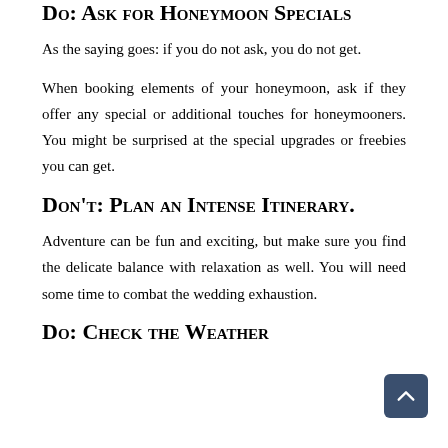Do: Ask for Honeymoon Specials
As the saying goes: if you do not ask, you do not get.
When booking elements of your honeymoon, ask if they offer any special or additional touches for honeymooners. You might be surprised at the special upgrades or freebies you can get.
Don't: Plan an Intense Itinerary.
Adventure can be fun and exciting, but make sure you find the delicate balance with relaxation as well. You will need some time to combat the wedding exhaustion.
Do: Check the Weather